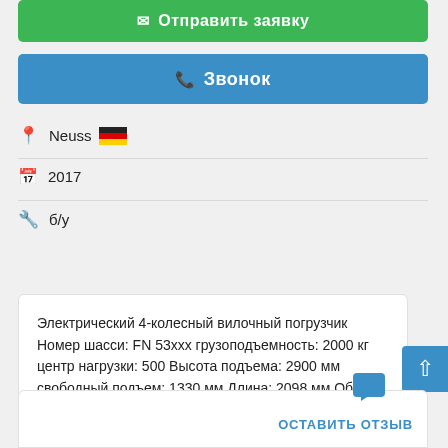✉ Отправить заявку
📞 Звонок
Neuss [Germany flag]
2017
б/у
Электрический 4-колесный вилочный погрузчик Номер шасси: FN 53xxx грузоподъемность: 2000 кг центр нагрузки: 500 Высота подъема: 2900 мм свободный подъем: 1330 мм Длина: 2098 мм Общая ширина: 1120 м...
ОСТАВИТЬ ОТЗЫВ